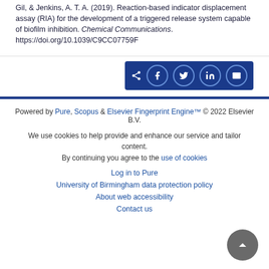Gil, & Jenkins, A. T. A. (2019). Reaction-based indicator displacement assay (RIA) for the development of a triggered release system capable of biofilm inhibition. Chemical Communications. https://doi.org/10.1039/C9CC07759F
[Figure (other): Share bar with social media icons: share, Facebook, Twitter, LinkedIn, email on dark blue background]
Powered by Pure, Scopus & Elsevier Fingerprint Engine™ © 2022 Elsevier B.V.
We use cookies to help provide and enhance our service and tailor content. By continuing you agree to the use of cookies
Log in to Pure
University of Birmingham data protection policy
About web accessibility
Contact us